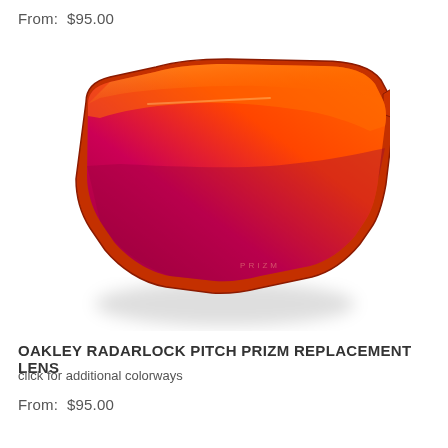From:  $95.00
[Figure (photo): Oakley Radarlock Pitch Prizm replacement lens with orange-to-magenta gradient mirror coating, shield style single lens, photographed on white background with subtle shadow]
OAKLEY RADARLOCK PITCH PRIZM REPLACEMENT LENS
click for additional colorways
From:  $95.00